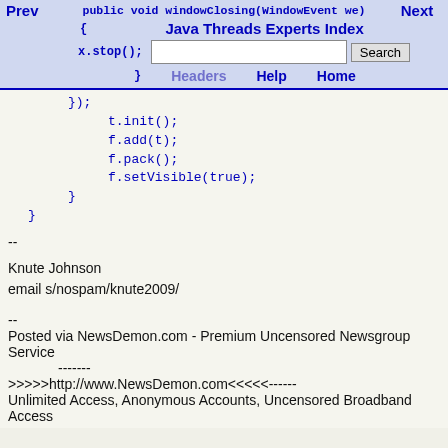public void windowClosing(WindowEvent we)
Prev   Next   Java Threads Experts Index   Search   Headers   Help   Home
{ x.stop(); } }); t.init(); f.add(t); f.pack(); f.setVisible(true); } }
--
Knute Johnson
email s/nospam/knute2009/
--
Posted via NewsDemon.com - Premium Uncensored Newsgroup Service
        -------
>>>>>http://www.NewsDemon.com<<<<<------
Unlimited Access, Anonymous Accounts, Uncensored Broadband Access